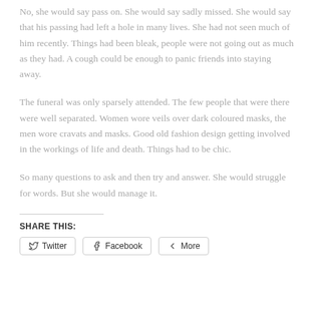No, she would say pass on. She would say sadly missed. She would say that his passing had left a hole in many lives. She had not seen much of him recently. Things had been bleak, people were not going out as much as they had. A cough could be enough to panic friends into staying away.
The funeral was only sparsely attended. The few people that were there were well separated. Women wore veils over dark coloured masks, the men wore cravats and masks. Good old fashion design getting involved in the workings of life and death. Things had to be chic.
So many questions to ask and then try and answer. She would struggle for words. But she would manage it.
SHARE THIS:
Twitter | Facebook | More